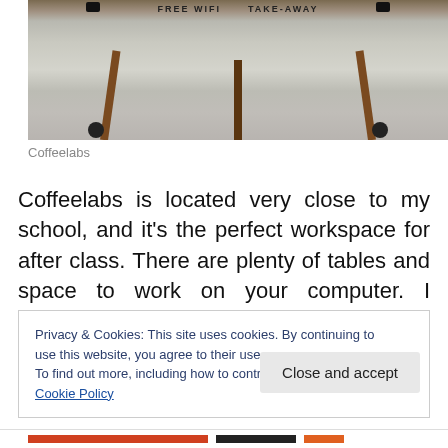[Figure (photo): Outdoor photo of a sandwich board sign on a pavement with text FREE WIFI and TAKE-AWAY visible at the top. The sign stands on a wooden easel with wheels on a stone-tiled pavement.]
Coffeelabs
Coffeelabs is located very close to my school, and it's the perfect workspace for after class. There are plenty of tables and space to work on your computer. I decided on my day off to come by with a book and sit outside and
Privacy & Cookies: This site uses cookies. By continuing to use this website, you agree to their use.
To find out more, including how to control cookies, see here: Cookie Policy
Close and accept